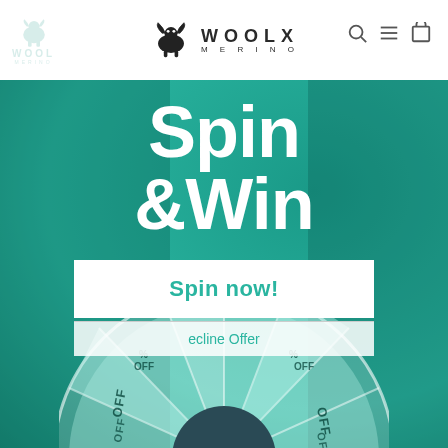[Figure (logo): WOOLX MERINO logo with ram icon, centered in white header bar]
[Figure (screenshot): Woolx Merino website screenshot showing a teal/green Spin & Win promotional popup with a spinning prize wheel. The banner shows large white text 'Spin & Win' over a teal background with a faded person in background. Below the text is a prize wheel with discount segments and a white 'Spin now!' button overlaid. A 'Decline Offer' link appears at the bottom of the overlay.]